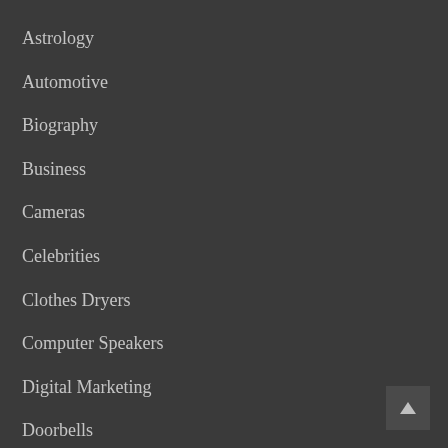Astrology
Automotive
Biography
Business
Cameras
Celebrities
Clothes Dryers
Computer Speakers
Digital Marketing
Doorbells
Drones